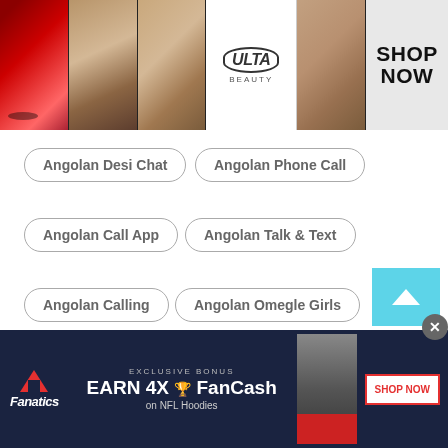[Figure (photo): Ulta Beauty advertisement banner with makeup photos (lips, brush, eye), Ulta logo, and SHOP NOW text]
Angolan Desi Chat
Angolan Phone Call
Angolan Call App
Angolan Talk & Text
Angolan Calling
Angolan Omegle Girls
Angolan Call App
Angolan Sites Like Omegle
Angolan Free Calls Online
Angolan Free Wifi Calling
[Figure (photo): Fanatics advertisement banner: EXCLUSIVE BONUS EARN 4X FanCash on NFL Hoodies, SHOP NOW button]